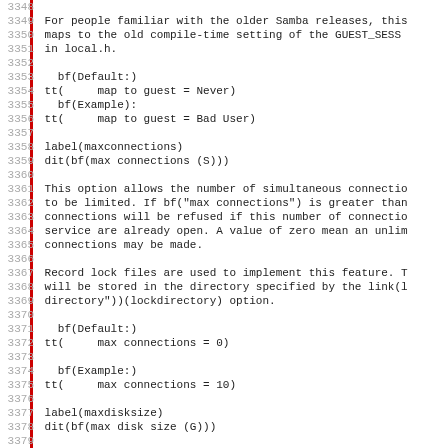3348
3349 For people familiar with the older Samba releases, this
3350 maps to the old compile-time setting of the GUEST_SESS
3351 in local.h.
3352
3353   bf(Default:)
3354 tt(     map to guest = Never)
3355   bf(Example):
3356 tt(     map to guest = Bad User)
3357
3358 label(maxconnections)
3359 dit(bf(max connections (S)))
3360
3361 This option allows the number of simultaneous connectio
3362 to be limited. If bf("max connections") is greater than
3363 connections will be refused if this number of connectio
3364 service are already open. A value of zero mean an unlim
3365 connections may be made.
3366
3367 Record lock files are used to implement this feature. T
3368 will be stored in the directory specified by the link(l
3369 directory"))(lockdirectory) option.
3370
3371   bf(Default:)
3372 tt(     max connections = 0)
3373
3374   bf(Example:)
3375 tt(     max connections = 10)
3376
3377 label(maxdisksize)
3378 dit(bf(max disk size (G)))
3379